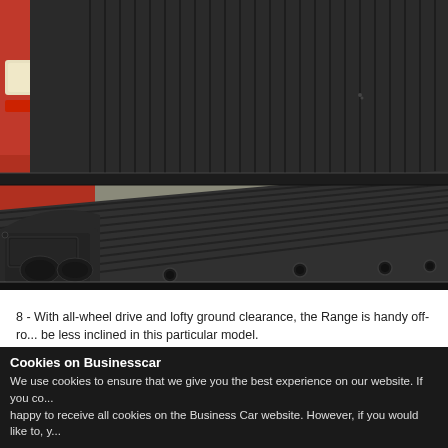[Figure (photo): Photograph of a truck cargo bed / load area showing a black ribbed plastic liner with tie-down hooks, wheel arch on the left side with red bodywork and headlight visible, and a blue sticker in the upper background. The bed floor has a corrugated pattern with multiple anchor points.]
8 - With all-wheel drive and lofty ground clearance, the Range is handy off-ro... be less inclined in this particular model.
9 - For that cash, you get chunky 17-inch alloys, centre console coolbox, DA... sensors
Cookies on Businesscar
We use cookies to ensure that we give you the best experience on our website. If you co... happy to receive all cookies on the Business Car website. However, if you would like to, y...